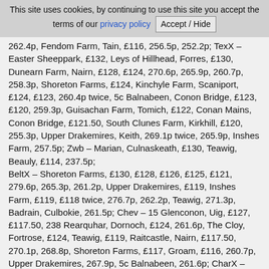This site uses cookies, by continuing to use this site you accept the terms of our privacy policy  Accept / Hide
262.4p, Fendom Farm, Tain, £116, 256.5p, 252.2p; TexX – Easter Sheeppark, £132, Leys of Hillhead, Forres, £130, Dunearn Farm, Nairn, £128, £124, 270.6p, 265.9p, 260.7p, 258.3p, Shoreton Farms, £124, Kinchyle Farm, Scaniport, £124, £123, 260.4p twice, 5c Balnabeen, Conon Bridge, £123, £120, 259.3p, Guisachan Farm, Tomich, £122, Conan Mains, Conon Bridge, £121.50, South Clunes Farm, Kirkhill, £120, 255.3p, Upper Drakemires, Keith, 269.1p twice, 265.9p, Inshes Farm, 257.5p; Zwb – Marian, Culnaskeath, £130, Teawig, Beauly, £114, 237.5p; BeltX – Shoreton Farms, £130, £128, £126, £125, £121, 279.6p, 265.3p, 261.2p, Upper Drakemires, £119, Inshes Farm, £119, £118 twice, 276.7p, 262.2p, Teawig, 271.3p, Badrain, Culbokie, 261.5p; Chev – 15 Glenconon, Uig, £127, £117.50, 238 Rearquhar, Dornoch, £124, 261.6p, The Cloy, Fortrose, £124, Teawig, £119, Raitcastle, Nairn, £117.50, 270.1p, 268.8p, Shoreton Farms, £117, Groam, £116, 260.7p, Upper Drakemires, 267.9p, 5c Balnabeen, 261.6p; CharX – Kinchyle Farm, £125.50, £120, 252.6p, Upper Drakemires, £120, 266.7p, South Clunes Farm, £120, 260.9p; Cross – Groam, £125, 255.1p, Rosebrae Farm, Elgin, £117, Upper Drakemires, 270.0p, 261.0p; BF – The Cloy, £121.50, £117, Teawig, £121, 263.0p, 261.0p, Groam, £119, 15 Glenconon, £119, Inshes Farm, £114.50, 263.2p, Raitcastle Farm, 265.9p; Mule – Groam, £121, 258.6p, 254.7p; CHM – Groam, £117.50, 267.1p; Lincoln Longwool – 4 Northwilds, Tain, £116.